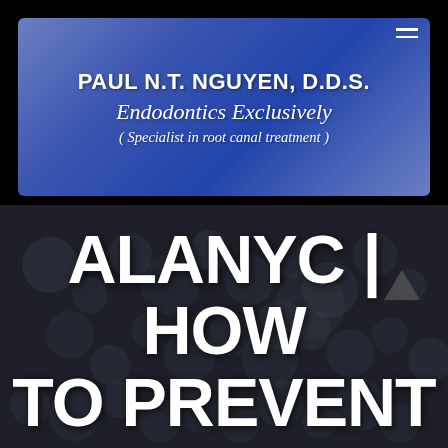PAUL N.T. NGUYEN, D.D.S. Endodontics Exclusively ( Specialist in root canal treatment )
[Figure (photo): Blurry dark background image showing bokeh-like circles, likely dental or microscopic material]
ALANYC | HOW TO PREVENT